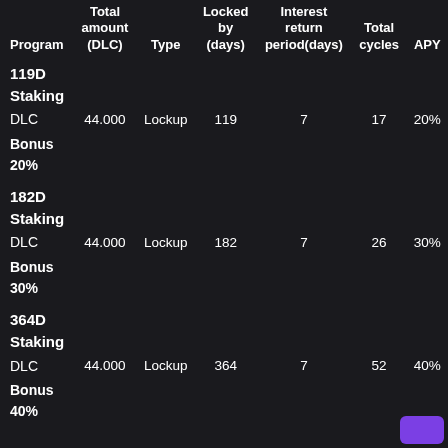| Program | Total amount (DLC) | Type | Locked by (days) | Interest return period(days) | Total cycles | APY |
| --- | --- | --- | --- | --- | --- | --- |
| 119D Staking |  |  |  |  |  |  |
| DLC | 44.000 | Lockup | 119 | 7 | 17 | 20% |
| Bonus 20% |  |  |  |  |  |  |
| 182D Staking |  |  |  |  |  |  |
| DLC | 44.000 | Lockup | 182 | 7 | 26 | 30% |
| Bonus 30% |  |  |  |  |  |  |
| 364D Staking |  |  |  |  |  |  |
| DLC | 44.000 | Lockup | 364 | 7 | 52 | 40% |
| Bonus 40% |  |  |  |  |  |  |